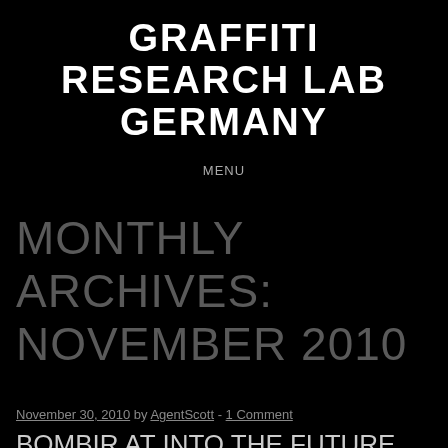GRAFFITI RESEARCH LAB GERMANY
MENU
MONTHLY ARCHIVES: NOVEMBER 2010
November 30, 2010 by AgentScott - 1 Comment
BOMBIR AT INTO THE FUTURE
We will be previewing bombIR for our friends at